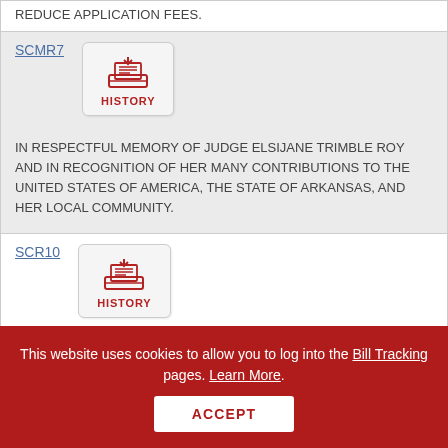REDUCE APPLICATION FEES.
SCMR7
[Figure (illustration): History inbox tray icon with label HISTORY]
IN RESPECTFUL MEMORY OF JUDGE ELSIJANE TRIMBLE ROY AND IN RECOGNITION OF HER MANY CONTRIBUTIONS TO THE UNITED STATES OF AMERICA, THE STATE OF ARKANSAS, AND HER LOCAL COMMUNITY.
SCR10
[Figure (illustration): History inbox tray icon with label HISTORY]
This website uses cookies to allow you to log into the Bill Tracking pages. Learn More.
ACCEPT